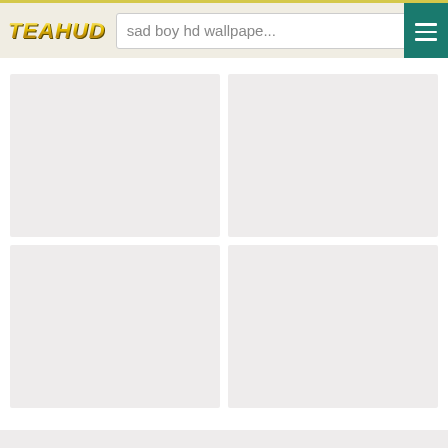TEAHUB — sad boy hd wallpape...
[Figure (screenshot): Loading placeholder grid of 4 image thumbnails on a wallpaper website (TEAHUB), showing grey empty image tiles in a 2x2 grid layout]
[Figure (other): Grey placeholder tile 1]
[Figure (other): Grey placeholder tile 2]
[Figure (other): Grey placeholder tile 3]
[Figure (other): Grey placeholder tile 4]